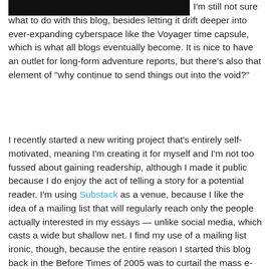[Figure (photo): Dark/black rectangular image at top left of page, partially visible]
I'm still not sure what to do with this blog, besides letting it drift deeper into ever-expanding cyberspace like the Voyager time capsule, which is what all blogs eventually become. It is nice to have an outlet for long-form adventure reports, but there's also that element of "why continue to send things out into the void?"
I recently started a new writing project that's entirely self-motivated, meaning I'm creating it for myself and I'm not too fussed about gaining readership, although I made it public because I do enjoy the act of telling a story for a potential reader. I'm using Substack as a venue, because I like the idea of a mailing list that will regularly reach only the people actually interested in my essays — unlike social media, which casts a wide but shallow net. I find my use of a mailing list ironic, though, because the entire reason I started this blog back in the Before Times of 2005 was to curtail the mass e-mails I was CC'ing to friends and family. I wish I had saved the snarky response I received from a high school friend with whom I lost contact years ago, but it amounted to, "No one wants 1,000 e-mails about your great new life in